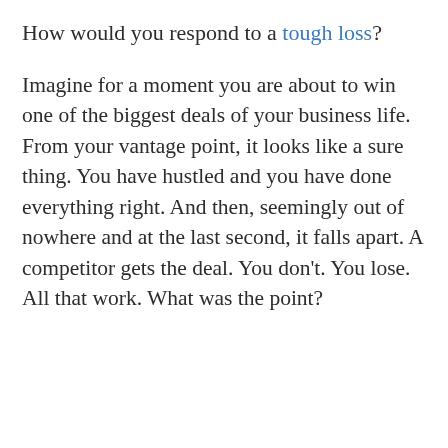How would you respond to a tough loss?
Imagine for a moment you are about to win one of the biggest deals of your business life. From your vantage point, it looks like a sure thing. You have hustled and you have done everything right. And then, seemingly out of nowhere and at the last second, it falls apart. A competitor gets the deal. You don't. You lose. All that work. What was the point?